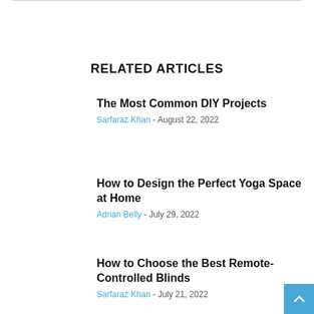RELATED ARTICLES
The Most Common DIY Projects
Sarfaraz Khan - August 22, 2022
How to Design the Perfect Yoga Space at Home
Adrian Belly - July 29, 2022
How to Choose the Best Remote-Controlled Blinds
Sarfaraz Khan - July 21, 2022